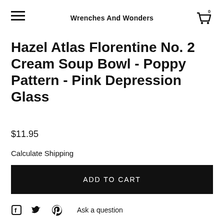Wrenches And Wonders
Hazel Atlas Florentine No. 2 Cream Soup Bowl - Poppy Pattern - Pink Depression Glass
$11.95
Calculate Shipping
ADD TO CART
Ask a question